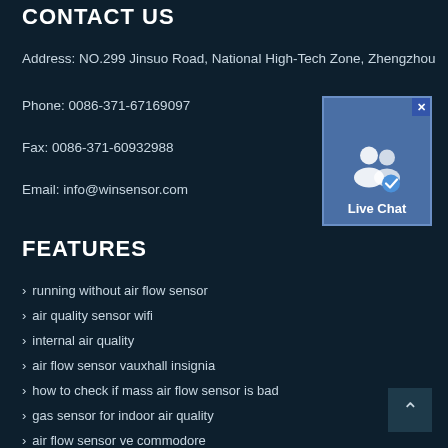CONTACT US
Address: NO.299 Jinsuo Road, National High-Tech Zone, Zhengzhou
Phone: 0086-371-67169097
Fax: 0086-371-60932988
Email: info@winsensor.com
[Figure (illustration): Live Chat widget with two user silhouette icons and a blue verified badge, labeled 'Live Chat']
FEATURES
running without air flow sensor
air quality sensor wifi
internal air quality
air flow sensor vauxhall insignia
how to check if mass air flow sensor is bad
gas sensor for indoor air quality
air flow sensor ve commodore
indoor air quality sensor diagram